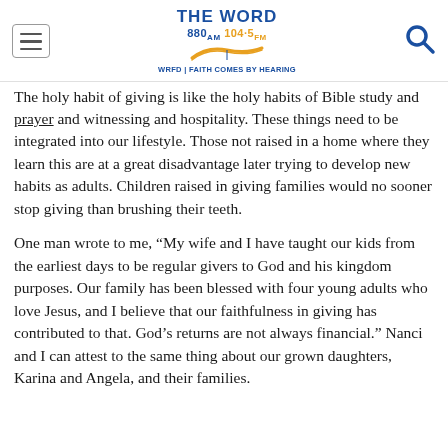THE WORD 880AM 104.5FM WRFD | FAITH COMES BY HEARING
The holy habit of giving is like the holy habits of Bible study and prayer and witnessing and hospitality. These things need to be integrated into our lifestyle. Those not raised in a home where they learn this are at a great disadvantage later trying to develop new habits as adults. Children raised in giving families would no sooner stop giving than brushing their teeth.
One man wrote to me, “My wife and I have taught our kids from the earliest days to be regular givers to God and his kingdom purposes. Our family has been blessed with four young adults who love Jesus, and I believe that our faithfulness in giving has contributed to that. God’s returns are not always financial.” Nanci and I can attest to the same thing about our grown daughters, Karina and Angela, and their families.